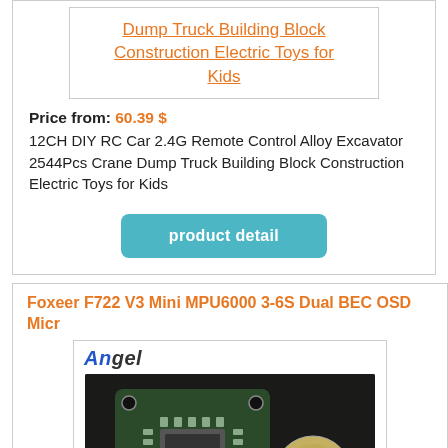[Figure (screenshot): Product listing image placeholder showing linked text for RC Car product]
Price from: 60.39 $
12CH DIY RC Car 2.4G Remote Control Alloy Excavator 2544Pcs Crane Dump Truck Building Block Construction Electric Toys for Kids
product detail
Foxeer F722 V3 Mini MPU6000 3-6S Dual BEC OSD Micr
[Figure (photo): Angel Industries logo with Foxeer F722 V3 Mini flight controller board and GPS module photo]